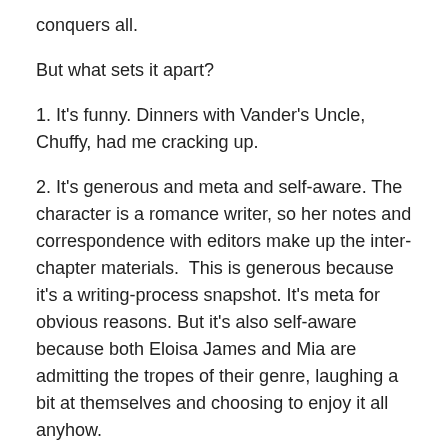conquers all.
But what sets it apart?
1. It's funny. Dinners with Vander's Uncle, Chuffy, had me cracking up.
2. It's generous and meta and self-aware. The character is a romance writer, so her notes and correspondence with editors make up the inter-chapter materials.  This is generous because it's a writing-process snapshot. It's meta for obvious reasons. But it's also self-aware because both Eloisa James and Mia are admitting the tropes of their genre, laughing a bit at themselves and choosing to enjoy it all anyhow.
3. She named the dogs after Rowling's house-elves. Enough Said.